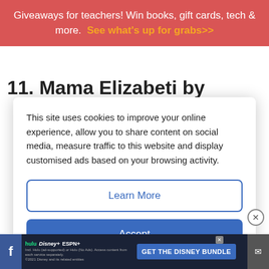Giveaways for teachers! Win books, gift cards, tech & more. See what's up for grabs>>
11. Mama Elizabeti by
This site uses cookies to improve your online experience, allow you to share content on social media, measure traffic to this website and display customised ads based on your browsing activity.
Learn More
Accept
[Figure (illustration): Illustrated image of a woman wearing a patterned head wrap smiling, with a child next to her]
hulu Disney+ ESPN+ GET THE DISNEY BUNDLE Incl. Hulu (ad-supported) or Hulu (No Ads). Access content from each service separately. ©2021 Disney and its related entities